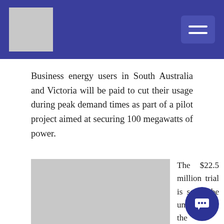[Logo] [Navigation menu button]
Business energy users in South Australia and Victoria will be paid to cut their usage during peak demand times as part of a pilot project aimed at securing 100 megawatts of power.
[Figure (photo): A grey placeholder image representing a photo related to the news article.]
The $22.5 million trial is set to be unveiled by the Australian Energy Market Operator and the Australian Renewable Energy